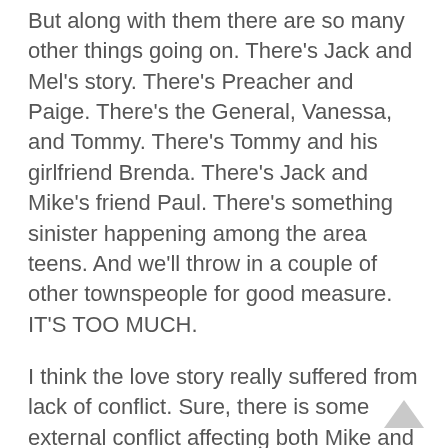But along with them there are so many other things going on. There's Jack and Mel's story. There's Preacher and Paige. There's the General, Vanessa, and Tommy. There's Tommy and his girlfriend Brenda. There's Jack and Mike's friend Paul. There's something sinister happening among the area teens. And we'll throw in a couple of other townspeople for good measure. IT'S TOO MUCH.
I think the love story really suffered from lack of conflict. Sure, there is some external conflict affecting both Mike and Brie, but there is absolutely no conflict between the two of them. I need a little spice with my sugar, please.
Overall, it's not bad, just not the best. I like Robyn Carr's books if I want a pleasant, gentle romance with interconnecting characters, but I guess this